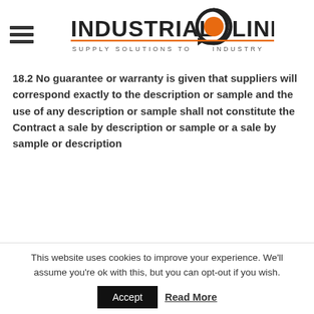[Figure (logo): Industrial Links logo with circular arrow icon and tagline SUPPLY SOLUTIONS TO INDUSTRY]
18.2 No guarantee or warranty is given that suppliers will correspond exactly to the description or sample and the use of any description or sample shall not constitute the Contract a sale by description or sample or a sale by sample or description
This website uses cookies to improve your experience. We'll assume you're ok with this, but you can opt-out if you wish.
Accept  Read More